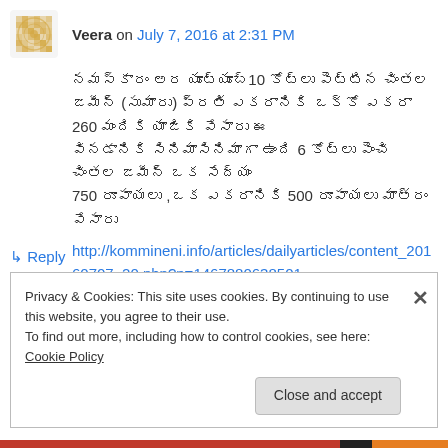Veera on July 7, 2016 at 2:31 PM
Telugu text comment body with numbers 10, 260, 6, 750, 500 and link http://kommineni.info/articles/dailyarticles/content_20160707_20.php?p=1467880638501
↳ Reply
Privacy & Cookies: This site uses cookies. By continuing to use this website, you agree to their use. To find out more, including how to control cookies, see here: Cookie Policy
Close and accept